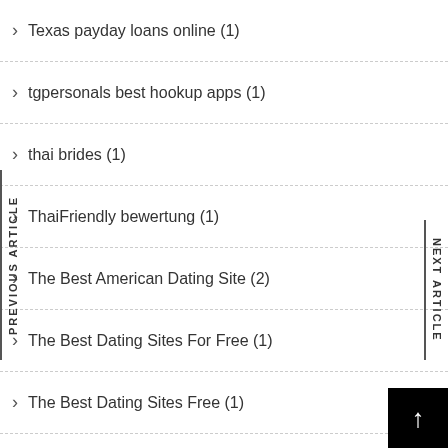Texas payday loans online (1)
tgpersonals best hookup apps (1)
thai brides (1)
ThaiFriendly bewertung (1)
The Best American Dating Site (2)
The Best Dating Sites For Free (1)
The Best Dating Sites Free (1)
The Best Lesbian Dating Site (1)